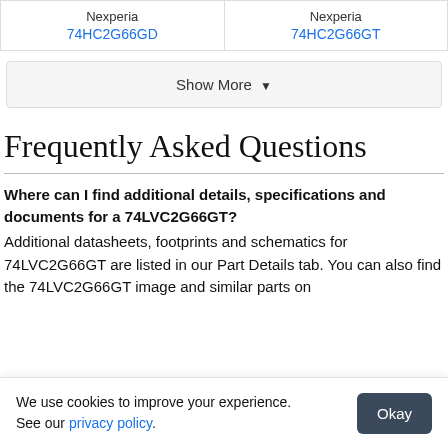| Product | Product |
| --- | --- |
| Nexperia
74HC2G66GD | Nexperia
74HC2G66GT |
Show More ▼
Frequently Asked Questions
Where can I find additional details, specifications and documents for a 74LVC2G66GT?
Additional datasheets, footprints and schematics for 74LVC2G66GT are listed in our Part Details tab. You can also find the 74LVC2G66GT image and similar parts on
We use cookies to improve your experience. See our privacy policy.